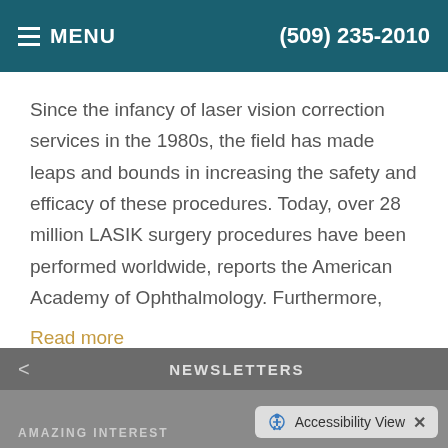MENU  (509) 235-2010
Since the infancy of laser vision correction services in the 1980s, the field has made leaps and bounds in increasing the safety and efficacy of these procedures. Today, over 28 million LASIK surgery procedures have been performed worldwide, reports the American Academy of Ophthalmology. Furthermore,
Read more
NEWSLETTERS  AMAZING INTEREST...  Accessibility View